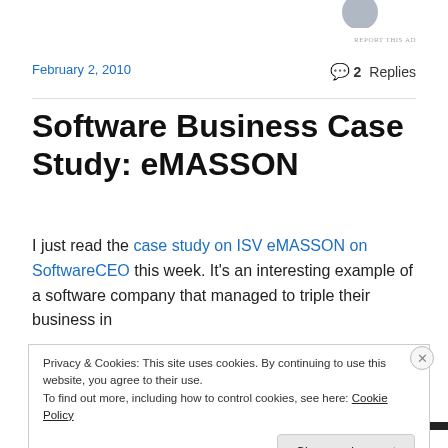[Figure (photo): Partial avatar/profile image in top right corner]
REPORT THIS AD
February 2, 2010
2 Replies
Software Business Case Study: eMASSON
I just read the case study on ISV eMASSON on SoftwareCEO this week. It's an interesting example of a software company that managed to triple their business in
Privacy & Cookies: This site uses cookies. By continuing to use this website, you agree to their use.
To find out more, including how to control cookies, see here: Cookie Policy
Close and accept
REPORT THIS AD